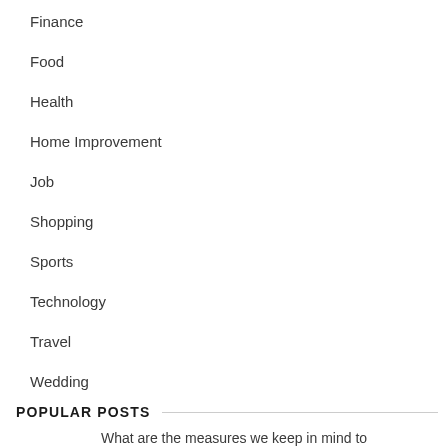Finance
Food
Health
Home Improvement
Job
Shopping
Sports
Technology
Travel
Wedding
POPULAR POSTS
What are the measures we keep in mind to